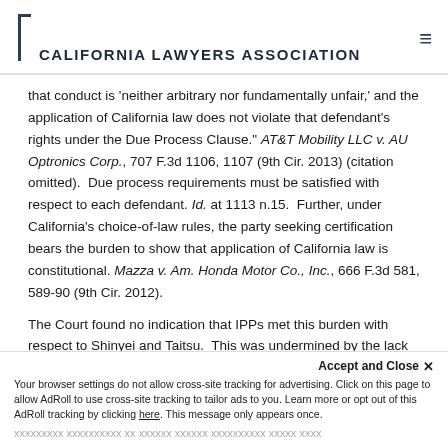CALIFORNIA LAWYERS ASSOCIATION
that conduct is 'neither arbitrary nor fundamentally unfair,' and the application of California law does not violate that defendant's rights under the Due Process Clause." AT&T Mobility LLC v. AU Optronics Corp., 707 F.3d 1106, 1107 (9th Cir. 2013) (citation omitted). Due process requirements must be satisfied with respect to each defendant. Id. at 1113 n.15. Further, under California's choice-of-law rules, the party seeking certification bears the burden to show that application of California law is constitutional. Mazza v. Am. Honda Motor Co., Inc., 666 F.3d 581, 589-90 (9th Cir. 2012).
The Court found no indication that IPPs met this burden with respect to Shinyei and Taitsu. This was undermined by the lack of allegations of any contacts with California, and
Accept and Close ✕ Your browser settings do not allow cross-site tracking for advertising. Click on this page to allow AdRoll to use cross-site tracking to tailor ads to you. Learn more or opt out of this AdRoll tracking by clicking here. This message only appears once.